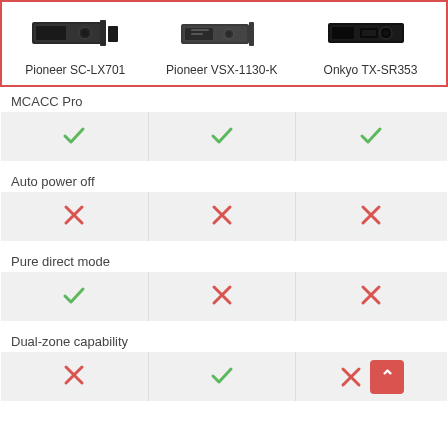| Pioneer SC-LX701 | Pioneer VSX-1130-K | Onkyo TX-SR353 |
| --- | --- | --- |
| ✓ | ✓ | ✓ |
| Auto power off |  |  |
| ✗ | ✗ | ✗ |
| Pure direct mode |  |  |
| ✓ | ✗ | ✗ |
| Dual-zone capability |  |  |
| ✗ | ✓ | ✗ |